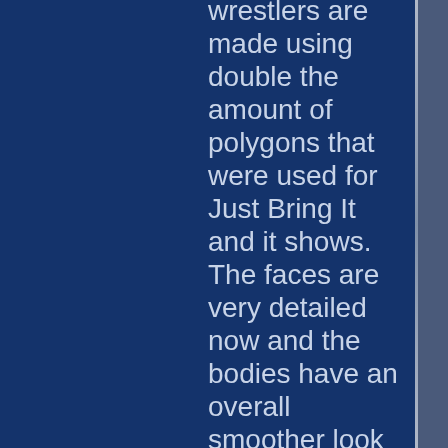The wrestlers are made using double the amount of polygons that were used for Just Bring It and it shows. The faces are very detailed now and the bodies have an overall smoother look to them. The female wrestlers are also a heck of a